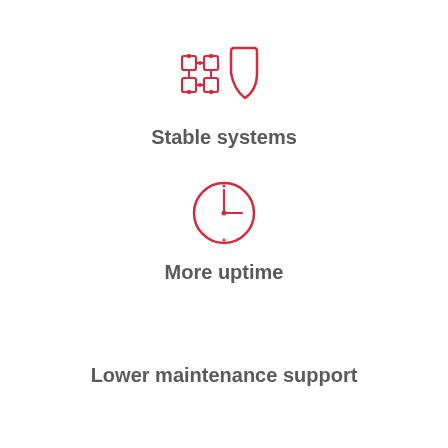[Figure (illustration): Red outline icon of a network/grid overlapping with a shield, representing stable systems]
Stable systems
[Figure (illustration): Red outline icon of a clock face showing approximately 3:00, representing uptime]
More uptime
Lower maintenance support